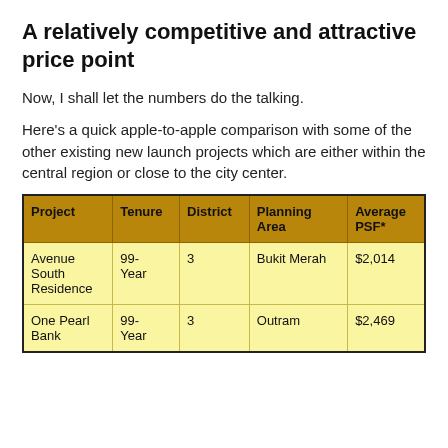A relatively competitive and attractive price point
Now, I shall let the numbers do the talking.
Here's a quick apple-to-apple comparison with some of the other existing new launch projects which are either within the central region or close to the city center.
| Project | Tenure | District | Planning Area | Average PSF* |
| --- | --- | --- | --- | --- |
| Avenue South Residence | 99-Year | 3 | Bukit Merah | $2,014 |
| One Pearl Bank | 99-Year | 3 | Outram | $2,469 |